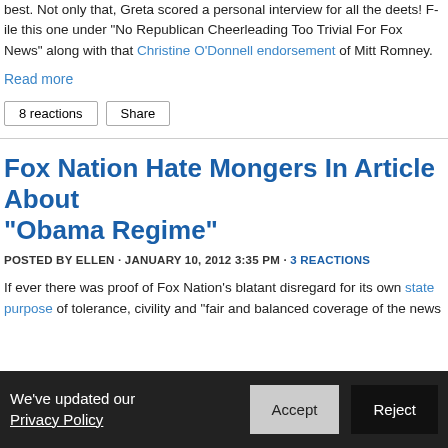best. Not only that, Greta scored a personal interview for all the deets! File this one under “No Republican Cheerleading Too Trivial For Fox News” along with that Christine O’Donnell endorsement of Mitt Romney.
Read more
8 reactions  Share
Fox Nation Hate Mongers In Article About “Obama Regime”
POSTED BY ELLEN · JANUARY 10, 2012 3:35 PM · 3 REACTIONS
If ever there was proof of Fox Nation’s blatant disregard for its own stated purpose of tolerance, civility and “fair and balanced coverage of the news”...
We’ve updated our Privacy Policy  Accept  Reject